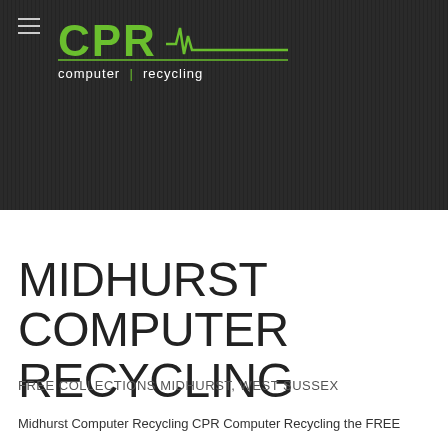[Figure (logo): CPR Computer Recycling logo with green text and heartbeat line on dark background]
MIDHURST COMPUTER RECYCLING
FREE COLLECTIONS MIDHURST, WEST SUSSEX
Midhurst Computer Recycling CPR Computer Recycling the FREE